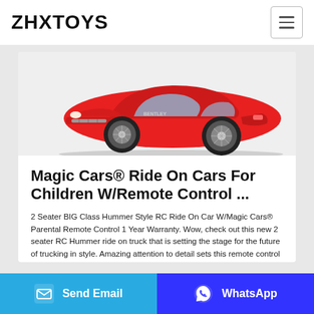ZHXTOYS
[Figure (photo): Red ride-on toy car (Bentley style) shown from front-left angle, partially cropped at top, on white/light background.]
Magic Cars® Ride On Cars For Children W/Remote Control ...
2 Seater BIG Class Hummer Style RC Ride On Car W/Magic Cars® Parental Remote Control 1 Year Warranty. Wow, check out this new 2 seater RC Hummer ride on truck that is setting the stage for the future of trucking in style. Amazing attention to detail sets this remote control Hummer apart from the competition. Reg Price: $699.99.
Send Email | WhatsApp